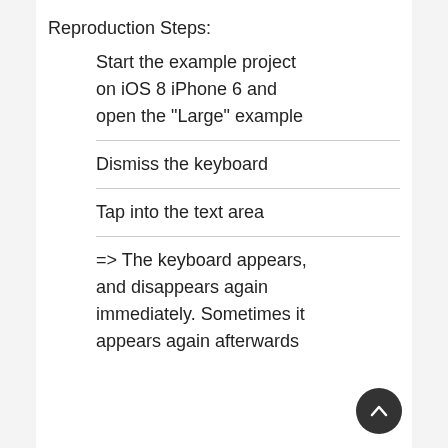Reproduction Steps:
Start the example project on iOS 8 iPhone 6 and open the "Large" example
Dismiss the keyboard
Tap into the text area
=> The keyboard appears, and disappears again immediately. Sometimes it appears again afterwards